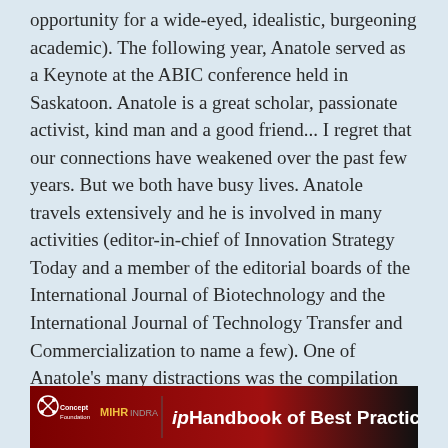opportunity for a wide-eyed, idealistic, burgeoning academic). The following year, Anatole served as a Keynote at the ABIC conference held in Saskatoon. Anatole is a great scholar, passionate activist, kind man and a good friend... I regret that our connections have weakened over the past few years. But we both have busy lives. Anatole travels extensively and he is involved in many activities (editor-in-chief of Innovation Strategy Today and a member of the editorial boards of the International Journal of Biotechnology and the International Journal of Technology Transfer and Commercialization to name a few). One of Anatole's many distractions was the compilation and editing of the Intellectual Property Management Handbook of Best Practices.  http://www.iphandbook.org/index.html
[Figure (other): Banner for ipHandbook of Best Practices showing Concept Foundation logo, MIHR and INDRA text, and title 'ipHandbook of Best Practices' on a dark red/black gradient background]